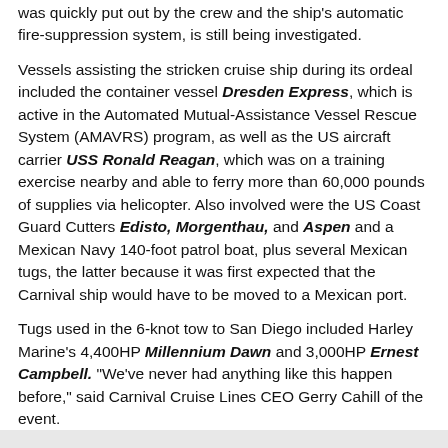was quickly put out by the crew and the ship's automatic fire-suppression system, is still being investigated.
Vessels assisting the stricken cruise ship during its ordeal included the container vessel Dresden Express, which is active in the Automated Mutual-Assistance Vessel Rescue System (AMAVRS) program, as well as the US aircraft carrier USS Ronald Reagan, which was on a training exercise nearby and able to ferry more than 60,000 pounds of supplies via helicopter. Also involved were the US Coast Guard Cutters Edisto, Morgenthau, and Aspen and a Mexican Navy 140-foot patrol boat, plus several Mexican tugs, the latter because it was first expected that the Carnival ship would have to be moved to a Mexican port.
Tugs used in the 6-knot tow to San Diego included Harley Marine's 4,400HP Millennium Dawn and 3,000HP Ernest Campbell. "We've never had anything like this happen before," said Carnival Cruise Lines CEO Gerry Cahill of the event.